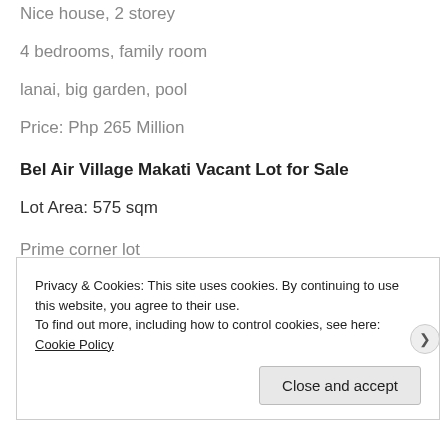Nice house, 2 storey
4 bedrooms, family room
lanai, big garden, pool
Price: Php 265 Million
Bel Air Village Makati Vacant Lot for Sale
Lot Area: 575 sqm
Prime corner lot
Privacy & Cookies: This site uses cookies. By continuing to use this website, you agree to their use.
To find out more, including how to control cookies, see here: Cookie Policy
Close and accept